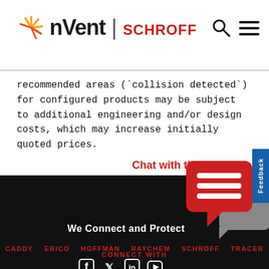[Figure (logo): nVent | SCHROFF logo with sunburst icon and navigation search/menu icons]
recommended areas (`collision detected`) for configured products may be subject to additional engineering and/or design costs, which may increase initially quoted prices.
[Figure (illustration): Chat with the team button with red speech bubble icon and gray speech bubble icon overlaid, with Feedback tab on right side]
We Connect and Protect
CADDY   ERICO   HOFFMAN   RAYCHEM   SCHROFF   TRACER
CONNECT WITH
[Figure (illustration): Social media icons: Facebook, Twitter, LinkedIn, YouTube]